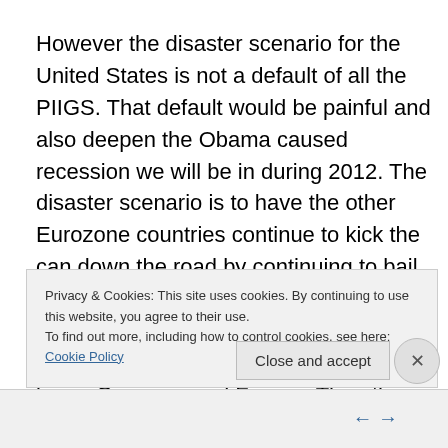However the disaster scenario for the United States is not a default of all the PIIGS. That default would be painful and also deepen the Obama caused recession we will be in during 2012. The disaster scenario is to have the other Eurozone countries continue to kick the can down the road by continuing to bail out the PIIGS. Eventually that move will collapse all the economies in the Eurozone with the two most important being Germany and France. Then they will all be looking to their Big Brother to bail out the
Privacy & Cookies: This site uses cookies. By continuing to use this website, you agree to their use.
To find out more, including how to control cookies, see here: Cookie Policy